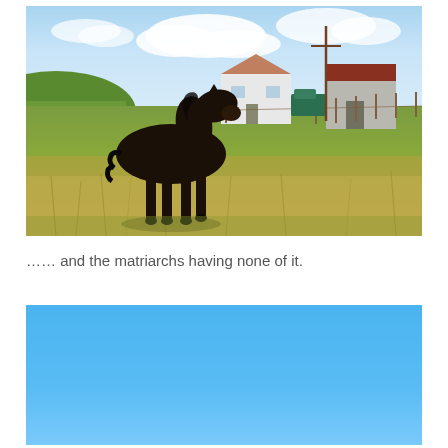[Figure (photo): A dark brown/black Shetland pony standing in a grassy field with dry grasses, farm buildings including a white house and a barn with a red roof in the background, under a partly cloudy blue sky.]
…… and the matriarchs having none of it.
[Figure (photo): A photo showing a clear blue sky, partially cropped, appearing as the top portion of an image at the bottom of the page.]